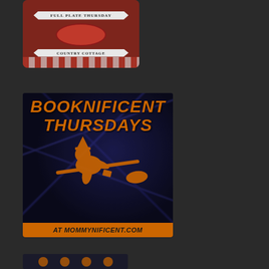[Figure (illustration): Full Plate Thursday - Country Cottage banner/logo with red background, white ribbon banners reading FULL PLATE THURSDAY and COUNTRY COTTAGE, with red and white striped bottom border]
[Figure (illustration): Booknificent Thursdays logo on dark blue/black background with glowing purple lightning effects, orange silhouette of a witch on a broomstick, orange bold italic text reading BOOKNIFICENT THURSDAYS, and orange footer bar reading AT MOMMYNIFICENT.COM]
[Figure (illustration): Partial view of a third image at the bottom of the page, showing dark background with orange circular elements, partially cut off]